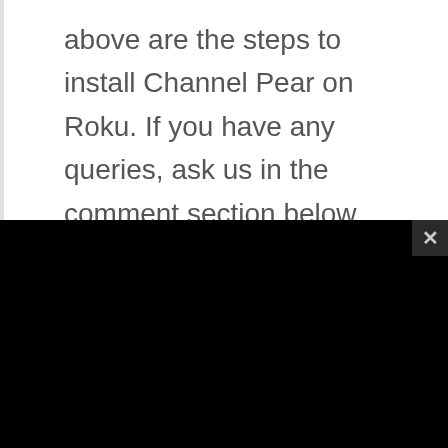above are the steps to install Channel Pear on Roku. If you have any queries, ask us in the comment section below.
[Figure (screenshot): Black video player area showing a 'Source not found' error message with a red warning icon on a light grey background, and a close button (×) in the top-right corner of the player overlay.]